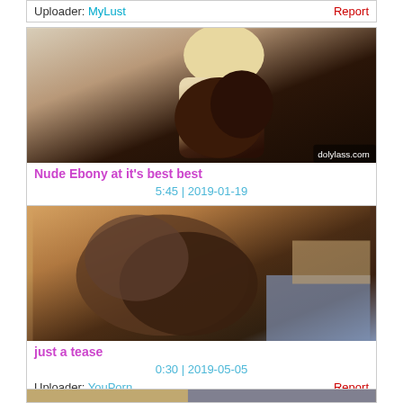Uploader: MyLust   Report
[Figure (photo): Thumbnail image of nude ebony person]
Nude Ebony at it's best best
5:45 | 2019-01-19
Uploader: PornHub   Report
[Figure (photo): Thumbnail image for just a tease video]
just a tease
0:30 | 2019-05-05
Uploader: YouPorn   Report
[Figure (photo): Partial thumbnail of third video]